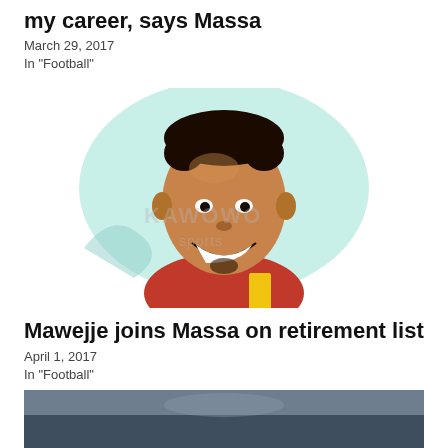my career, says Massa
March 29, 2017
In "Football"
[Figure (illustration): Illustrated portrait of a smiling young Black man wearing a red and yellow football jersey, with a light teal circular background. A watermark reading 'Kawowo Sports' is visible.]
Mawejje joins Massa on retirement list
April 1, 2017
In "Football"
[Figure (photo): Partial photo at bottom of page showing an outdoor scene, partially cut off.]